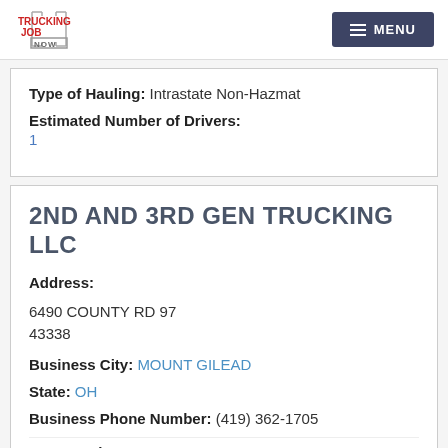TRUCKING JOB NOW | MENU
Type of Hauling: Intrastate Non-Hazmat
Estimated Number of Drivers: 1
2ND AND 3RD GEN TRUCKING LLC
Address: 6490 COUNTY RD 97 43338
Business City: MOUNT GILEAD
State: OH
Business Phone Number: (419) 362-1705
DOT Number: 3516757